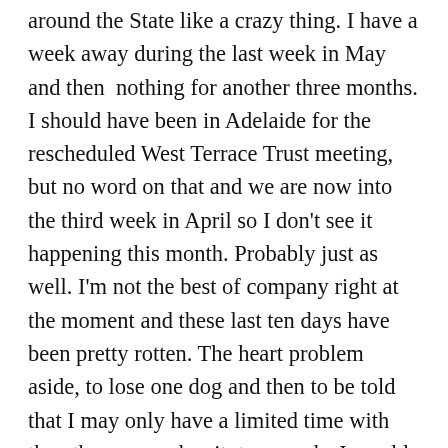around the State like a crazy thing. I have a week away during the last week in May and then  nothing for another three months. I should have been in Adelaide for the rescheduled West Terrace Trust meeting, but no word on that and we are now into the third week in April so I don't see it happening this month. Probably just as well. I'm not the best of company right at the moment and these last ten days have been pretty rotten. The heart problem aside, to lose one dog and then to be told that I may only have a limited time with the other one makes it  two weeks I would rather not have happened. I keep thinking that I had really neglected Chienne somehow. The Man was ill, blind and require a lot of attention and he got all that attention, even when it meant getting up at 2 and 3 am to attend to him. Chienne looked fine, she seemed fine and behaved as she always does, calm and placid. It was only afterwards that I began to notice that she was